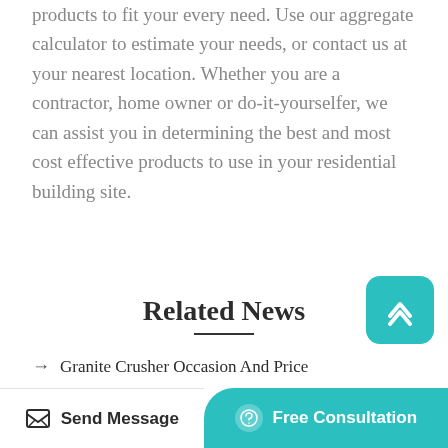products to fit your every need. Use our aggregate calculator to estimate your needs, or contact us at your nearest location. Whether you are a contractor, home owner or do-it-yourselfer, we can assist you in determining the best and most cost effective products to use in your residential building site.
Related News
Granite Crusher Occasion And Price
Reem Crusher Factory Riyadh Number
Send Message   Free Consultation